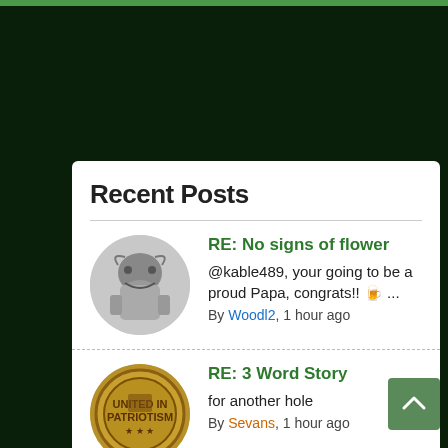Recent Posts
RE: No signs of flower
@kable489, your going to be a proud Papa, congrats!! 🍺 ...
By Woodl2, 1 hour ago
RE: 3 Word Story
for another hole
By Sevans, 1 hour ago
RE: Some well overdue promotions!
By Johnfinnegan, 2 hours ago
RE: Some well overdue promotions!
Damn it @johnfinnegan, can't get none